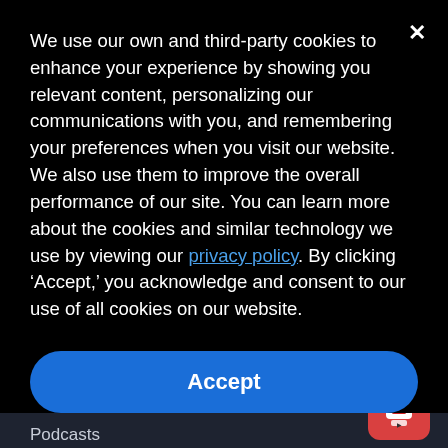We use our own and third-party cookies to enhance your experience by showing you relevant content, personalizing our communications with you, and remembering your preferences when you visit our website. We also use them to improve the overall performance of our site. You can learn more about the cookies and similar technology we use by viewing our privacy policy. By clicking ‘Accept,’ you acknowledge and consent to our use of all cookies on our website.
Accept
Infographics
Request Pricing
Webinars
Get a Demo
Podcasts
Blog
Cofense vs. Proofpoint
Cofense vs. Knowbe4
[Figure (other): Chat widget button with robot icon and red notification badge showing 1]